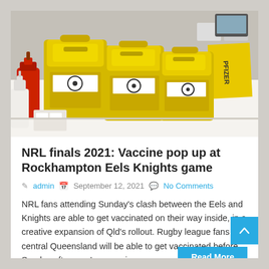[Figure (photo): A vaccination hub setup showing yellow sharps disposal containers on a white table, with a red soap dispenser and a yellow Pfizer folder/document visible in the background.]
NRL finals 2021: Vaccine pop up at Rockhampton Eels Knights game
admin  September 12, 2021  No Comments
NRL fans attending Sunday's clash between the Eels and Knights are able to get vaccinated on their way inside, in a creative expansion of Qld's rollout. Rugby league fans in central Queensland will be able to get vaccinated before Sunday afternoon's game, in a